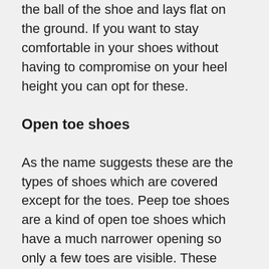the ball of the shoe and lays flat on the ground. If you want to stay comfortable in your shoes without having to compromise on your heel height you can opt for these.
Open toe shoes
As the name suggests these are the types of shoes which are covered except for the toes. Peep toe shoes are a kind of open toe shoes which have a much narrower opening so only a few toes are visible. These shoes are available in a variety of heel heights and styles. They can also have an open back instead of a